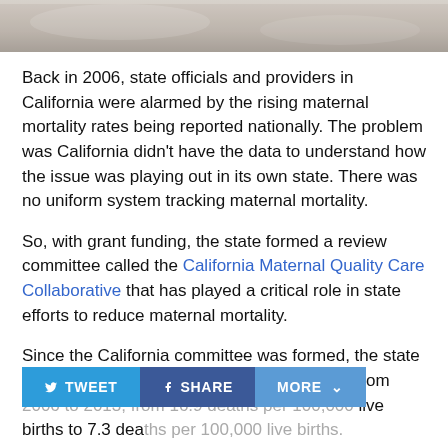[Figure (photo): Partial cropped photo of a person, likely related to maternal health, showing fabric/clothing in muted tones. Bottom strip of an image visible at the top of the page.]
Back in 2006, state officials and providers in California were alarmed by the rising maternal mortality rates being reported nationally. The problem was California didn't have the data to understand how the issue was playing out in its own state. There was no uniform system tracking maternal mortality.
So, with grant funding, the state formed a review committee called the California Maternal Quality Care Collaborative that has played a critical role in state efforts to reduce maternal mortality.
Since the California committee was formed, the state has seen maternal mortality decline by 55% from 2006 to 2013, from 16.9 deaths per 100,000 live births to 7.3 deaths per 100,000 live births.